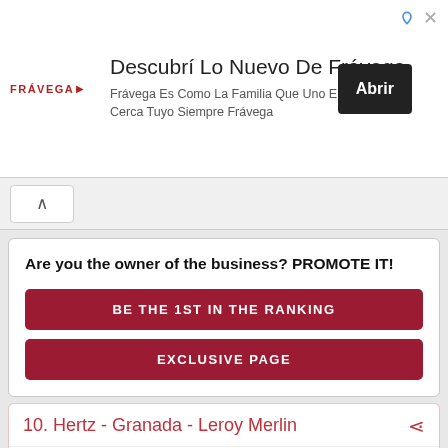[Figure (screenshot): Frávega advertisement banner with logo, text 'Descubrí Lo Nuevo De Frávega', subtitle, and Abrir button]
Are you the owner of the business? PROMOTE IT!
BE THE 1ST IN THE RANKING
EXCLUSIVE PAGE
10. Hertz - Granada - Leroy Merlin
3 — 2 reviews — MORE PHOTOS
Price/Quality